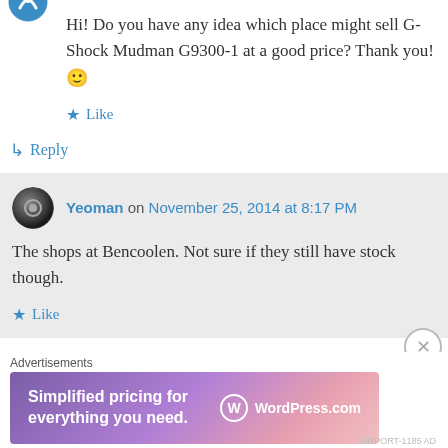[Figure (logo): Blue circular avatar icon (partial, top-left)]
Hi! Do you have any idea which place might sell G-Shock Mudman G9300-1 at a good price? Thank you! 🙂
★ Like
↳ Reply
[Figure (photo): Dark circular avatar for user Yeoman]
Yeoman on November 25, 2014 at 8:17 PM
The shops at Bencoolen. Not sure if they still have stock though.
★ Like
Advertisements
[Figure (screenshot): WordPress.com advertisement banner: Simplified pricing for everything you need.]